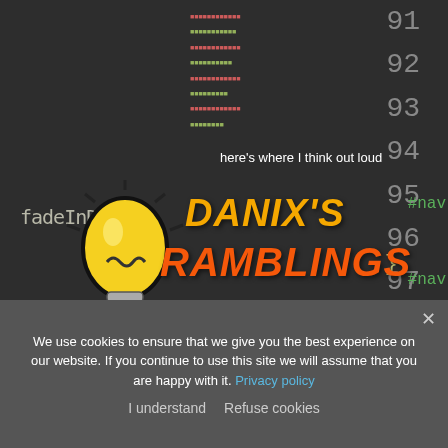[Figure (screenshot): Code editor background showing CSS/HTML code with line numbers 91-98 visible. Lines reference fadeInDown and #nav selectors with curly braces.]
[Figure (logo): Danix's Ramblings blog logo: hand-drawn light bulb illustration in yellow/black, tagline 'here's where I think out loud', blog name 'DANIX'S RAMBLINGS' in bold italic orange/amber text.]
here's where I think out loud
DANIX'S RAMBLINGS
We use cookies to ensure that we give you the best experience on our website. If you continue to use this site we will assume that you are happy with it. Privacy policy
I understand   Refuse cookies